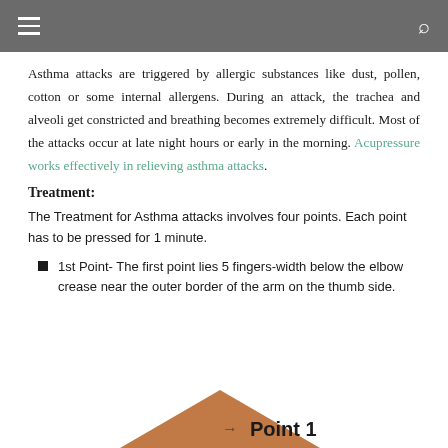≡  🔍
Asthma attacks are triggered by allergic substances like dust, pollen, cotton or some internal allergens. During an attack, the trachea and alveoli get constricted and breathing becomes extremely difficult. Most of the attacks occur at late night hours or early in the morning. Acupressure works effectively in relieving asthma attacks.
Treatment:
The Treatment for Asthma attacks involves four points. Each point has to be pressed for 1 minute.
1st Point- The first point lies 5 fingers-width below the elbow crease near the outer border of the arm on the thumb side.
[Figure (illustration): Partial image showing an arm with a triangular brown/orange shape and text 'Point 1' visible at the bottom of the page]